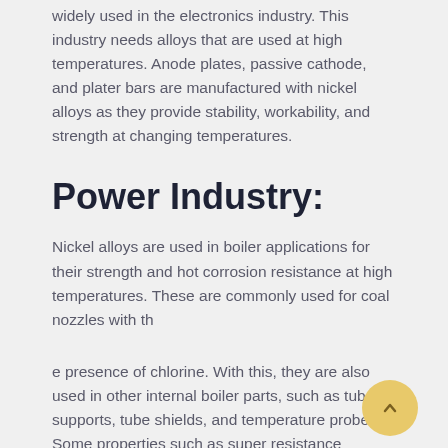widely used in the electronics industry. This industry needs alloys that are used at high temperatures. Anode plates, passive cathode, and plater bars are manufactured with nickel alloys as they provide stability, workability, and strength at changing temperatures.
Power Industry:
Nickel alloys are used in boiler applications for their strength and hot corrosion resistance at high temperatures. These are commonly used for coal nozzles with th
e presence of chlorine. With this, they are also used in other internal boiler parts, such as tube supports, tube shields, and temperature probes. Some properties such as super resistance